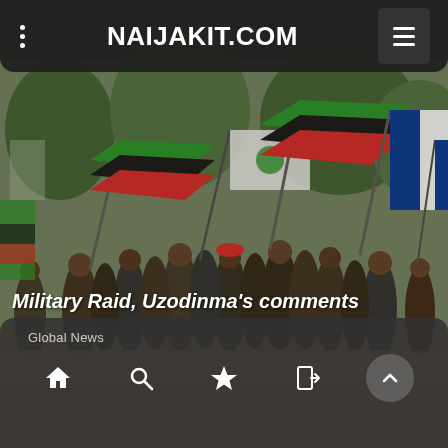NAIJAKIT.COM
[Figure (photo): A large crowd of people marching outdoors, waving multiple flags including green-black-red flags and a French tricolor (blue-white-red), appearing to be a political demonstration or rally on a dusty street with trees in the background.]
Global News
Military Raid, Uzodinma's comments